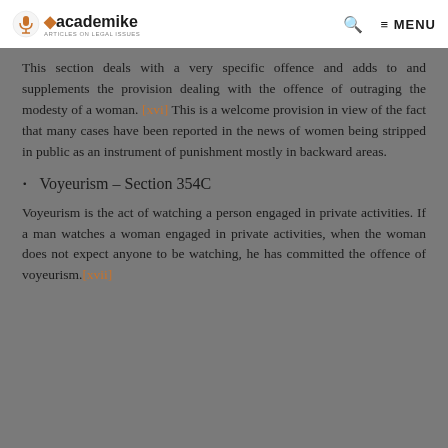academike — MENU
This section deals with a very specific offence and adds to and supplements the provision dealing with the offence of outraging the modesty of a woman. [xvi] This is a welcome provision in view of the fact that many cases have been reported in the news of women being stripped in public as an instrument of punishment mostly in backward areas.
Voyeurism – Section 354C
Voyeurism is the act of watching a person engaged in private activities. If a man watches a woman engaged in private activities, when the woman does not expect anyone to be watching, he has committed the offence of voyeurism.[xvii]